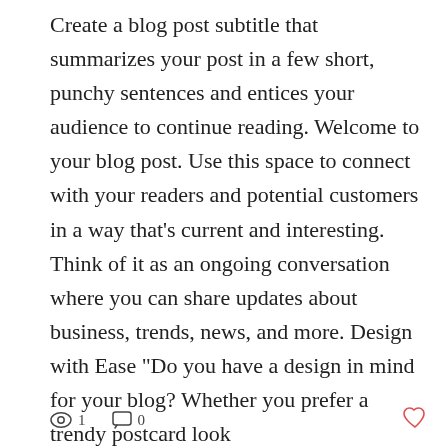Create a blog post subtitle that summarizes your post in a few short, punchy sentences and entices your audience to continue reading. Welcome to your blog post. Use this space to connect with your readers and potential customers in a way that's current and interesting. Think of it as an ongoing conversation where you can share updates about business, trends, news, and more. Design with Ease "Do you have a design in mind for your blog? Whether you prefer a trendy postcard look
👁 1   💬 0   ♡